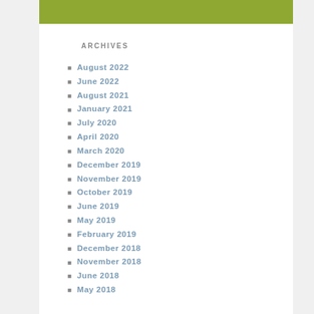[Figure (other): Green/olive colored decorative bar at top of page]
ARCHIVES
August 2022
June 2022
August 2021
January 2021
July 2020
April 2020
March 2020
December 2019
November 2019
October 2019
June 2019
May 2019
February 2019
December 2018
November 2018
June 2018
May 2018